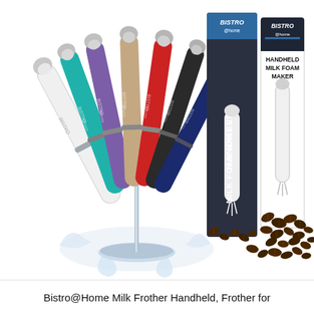[Figure (photo): Product photo showing multiple Bistro@Home handheld milk frother wands in various colors (white, teal, purple, tan/beige, red, black, dark blue) displayed on a stand with swirling milk splash, alongside two product boxes labeled 'Bistro @home Handheld Milk Foam Maker' with coffee beans scattered around.]
Bistro@Home Milk Frother Handheld, Frother for